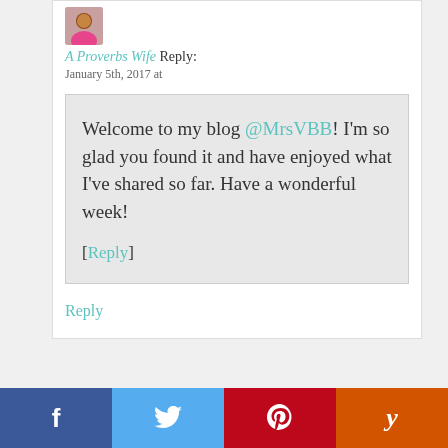[Figure (photo): Avatar photo of a woman in a pink top]
A Proverbs Wife Reply:
January 5th, 2017 at
Welcome to my blog @MrsVBB! I'm so glad you found it and have enjoyed what I've shared so far. Have a wonderful week!
[Reply]
Reply
[Figure (infographic): Social media share bar with Facebook, Twitter, Pinterest, and Yummly buttons]